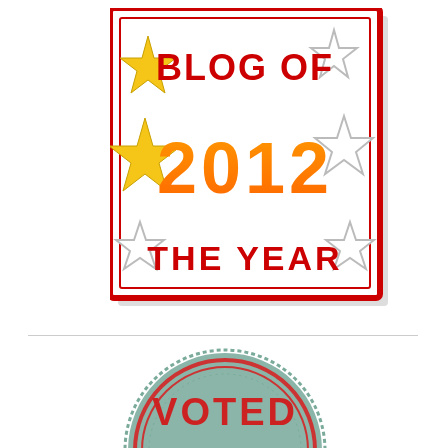[Figure (illustration): Blog of the Year 2012 award badge: white rectangle with red border, featuring yellow filled stars on the left, outline stars on the right, red bold text 'BLOG OF', large orange gradient text '2012', and red bold text 'THE YEAR']
[Figure (illustration): Circular voted badge in teal/sage green color with red border ring and dashed outer ring, showing red bold text 'VOTED' in the upper portion of the circle]